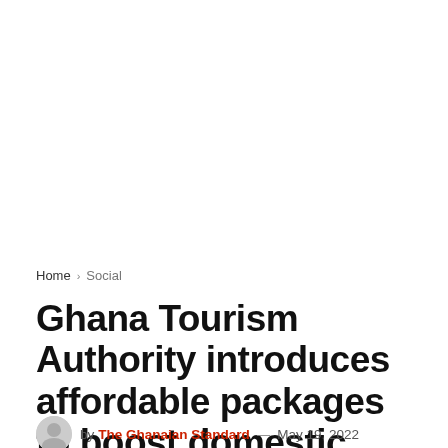Home › Social
Ghana Tourism Authority introduces affordable packages to boost domestic tourism
by The Ghanaian Standard — May 19, 2022